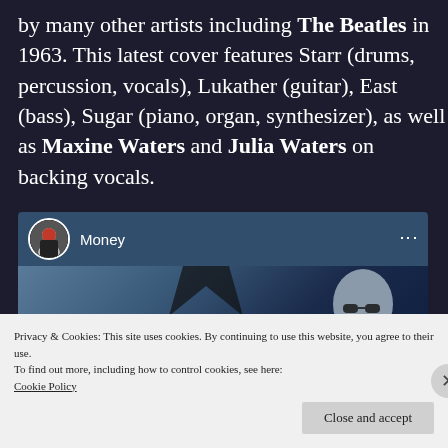by many other artists including The Beatles in 1963. This latest cover features Starr (drums, percussion, vocals), Lukather (guitar), East (bass), Sugar (piano, organ, synthesizer), as well as Maxine Waters and Julia Waters on backing vocals.
[Figure (screenshot): Embedded YouTube video player showing 'Money' by Ringo Starr with a dark blue background featuring a star shape and person wearing sunglasses]
Privacy & Cookies: This site uses cookies. By continuing to use this website, you agree to their use.
To find out more, including how to control cookies, see here:
Cookie Policy